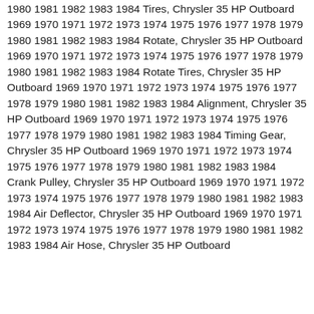1980 1981 1982 1983 1984 Tires, Chrysler 35 HP Outboard 1969 1970 1971 1972 1973 1974 1975 1976 1977 1978 1979 1980 1981 1982 1983 1984 Rotate, Chrysler 35 HP Outboard 1969 1970 1971 1972 1973 1974 1975 1976 1977 1978 1979 1980 1981 1982 1983 1984 Rotate Tires, Chrysler 35 HP Outboard 1969 1970 1971 1972 1973 1974 1975 1976 1977 1978 1979 1980 1981 1982 1983 1984 Alignment, Chrysler 35 HP Outboard 1969 1970 1971 1972 1973 1974 1975 1976 1977 1978 1979 1980 1981 1982 1983 1984 Timing Gear, Chrysler 35 HP Outboard 1969 1970 1971 1972 1973 1974 1975 1976 1977 1978 1979 1980 1981 1982 1983 1984 Crank Pulley, Chrysler 35 HP Outboard 1969 1970 1971 1972 1973 1974 1975 1976 1977 1978 1979 1980 1981 1982 1983 1984 Air Deflector, Chrysler 35 HP Outboard 1969 1970 1971 1972 1973 1974 1975 1976 1977 1978 1979 1980 1981 1982 1983 1984 Air Hose, Chrysler 35 HP Outboard